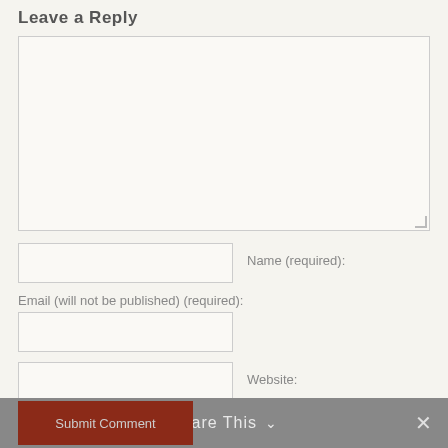Leave a Reply
[Figure (screenshot): Large empty text area input box for comment reply]
Name (required):
Email (will not be published) (required):
Website:
Submit Comment
Share This
✕